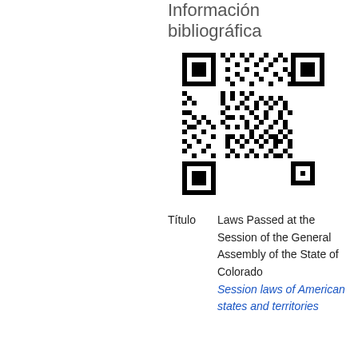Información bibliográfica
[Figure (other): QR code for the bibliographic information page]
Título    Laws Passed at the Session of the General Assembly of the State of Colorado Session laws of American states and territories